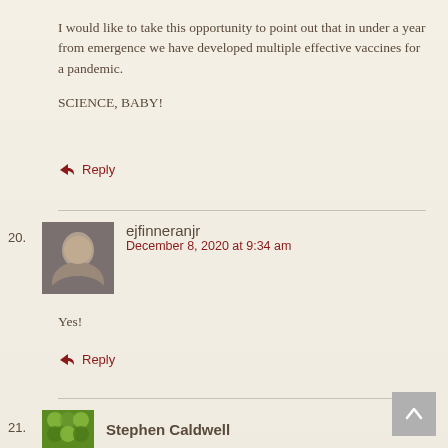I would like to take this opportunity to point out that in under a year from emergence we have developed multiple effective vaccines for a pandemic.
SCIENCE, BABY!
↳ Reply
20. ejfinneranjr
December 8, 2020 at 9:34 am
Yes!
↳ Reply
21. Stephen Caldwell